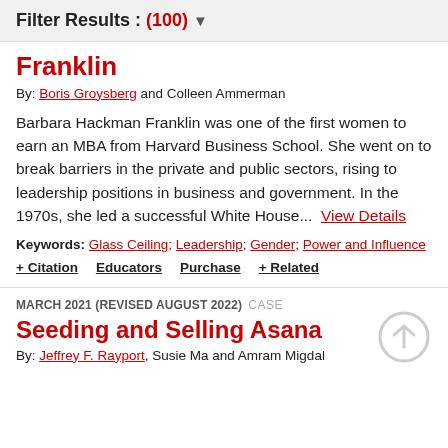Filter Results : (100) ▼
Franklin
By: Boris Groysberg and Colleen Ammerman
Barbara Hackman Franklin was one of the first women to earn an MBA from Harvard Business School. She went on to break barriers in the private and public sectors, rising to leadership positions in business and government. In the 1970s, she led a successful White House... View Details
Keywords: Glass Ceiling; Leadership; Gender; Power and Influence
+ Citation   Educators   Purchase   + Related
MARCH 2021 (REVISED AUGUST 2022)  CASE
Seeding and Selling Asana
By: Jeffrey F. Rayport, Susie Ma and Amram Migdal